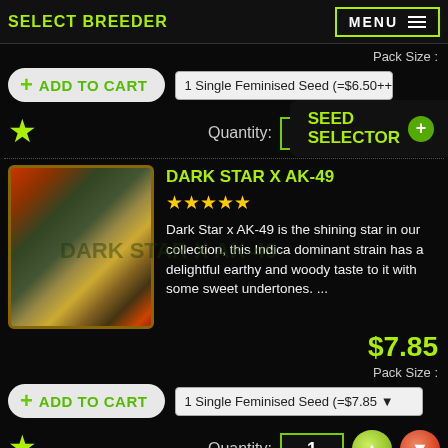SELECT BREEDER | MENU
Pack Size :
+ Add to Cart
1 Single Feminised Seed (=$6.50++) [partially visible]
Seed Selector +
Quantity: 1
DARK STAR X AK-49
★★★★★
Dark Star x AK-49 is the shining star in our collection, this Indica dominant strain has a delightful earthy and woody taste to it with some sweet undertones. ...
$7.85
Pack Size :
+ Add to Cart
1 Single Feminised Seed (=$7.85 ▾
Quantity: 1